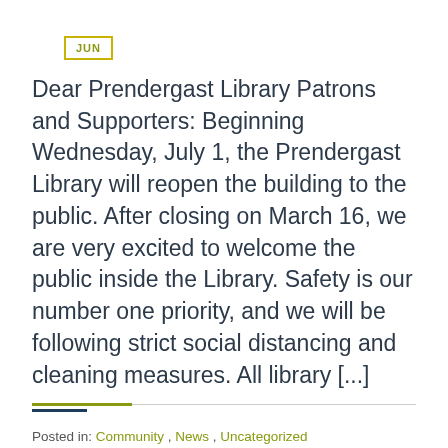JUN
Dear Prendergast Library Patrons and Supporters: Beginning Wednesday, July 1, the Prendergast Library will reopen the building to the public. After closing on March 16, we are very excited to welcome the public inside the Library. Safety is our number one priority, and we will be following strict social distancing and cleaning measures. All library [...]
Posted in: Community , News , Uncategorized
Tags: community , news , r